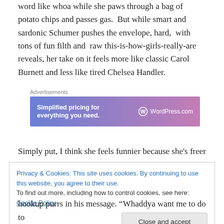word like whoa while she paws through a bag of potato chips and passes gas.  But while smart and sardonic Schumer pushes the envelope, hard,  with tons of fun filth and  raw this-is-how-girls-really-are reveals, her take on it feels more like classic Carol Burnett and less like tired Chelsea Handler.
[Figure (other): WordPress.com advertisement banner with gradient blue-purple background. Text reads 'Simplified pricing for everything you need.' with WordPress.com logo.]
Simply put, I think she feels funnier because she's freer
Privacy & Cookies: This site uses cookies. By continuing to use this website, you agree to their use.
To find out more, including how to control cookies, see here: Cookie Policy
[Close and accept button]
hookup purrs in his message. “Whaddya want me to do to